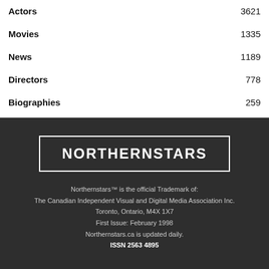Actors  3621
Movies  1335
News  1189
Directors  778
Biographies  259
[Figure (logo): NORTHERNSTARS logo in white text on dark background, inside a white rectangular border]
Northernstars™ is the official Trademark of:
The Canadian Independent Visual and Digital Media Association Inc.
Toronto, Ontario, M4X 1X7
First Issue: February 1998
Northernstars.ca is updated daily.
ISSN 2563 4895